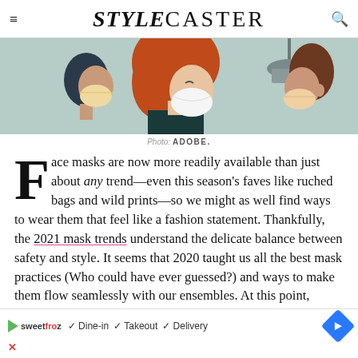STYLECASTER
[Figure (illustration): Illustrated graphic showing three people wearing face masks in profile view against a teal/sage green background. One person has red/orange hair, one has dark hair, and one is partially visible on the right.]
Photo: ADOBE.
Face masks are now more readily available than just about any trend—even this season's faves like ruched bags and wild prints—so we might as well find ways to wear them that feel like a fashion statement. Thankfully, the 2021 mask trends understand the delicate balance between safety and style. It seems that 2020 taught us all the best mask practices (Who could have ever guessed?) and ways to make them flow seamlessly with our ensembles. At this point, masks are just another accessory to add to our wardrobes—though definitely more
[Figure (screenshot): Advertisement banner for SweetFrog restaurant showing: Play triangle logo, SweetFrog text, checkmarks for Dine-in, Takeout, and Delivery options, and a blue diamond arrow icon.]